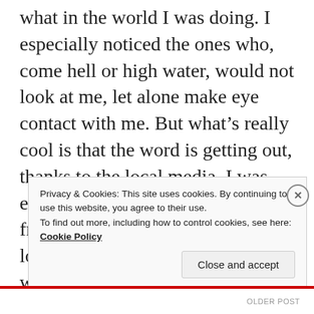what in the world I was doing. I especially noticed the ones who, come hell or high water, would not look at me, let alone make eye contact with me. But what's really cool is that the word is getting out, thanks to the local media. I was even interviewed by a TV station from Nashville, and there were a lot of folks blowing their horns when they drove by. Others were waving and
Privacy & Cookies: This site uses cookies. By continuing to use this website, you agree to their use. To find out more, including how to control cookies, see here: Cookie Policy
Close and accept